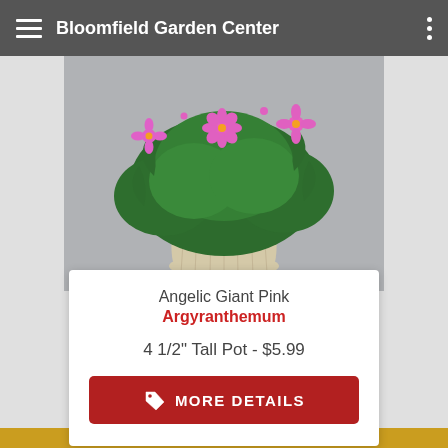Bloomfield Garden Center
[Figure (photo): Photo of Angelic Giant Pink Argyranthemum plant with pink daisy-like flowers and green foliage in a cream-colored ribbed pot against a grey background]
Angelic Giant Pink
Argyranthemum
4 1/2" Tall Pot - $5.99
MORE DETAILS